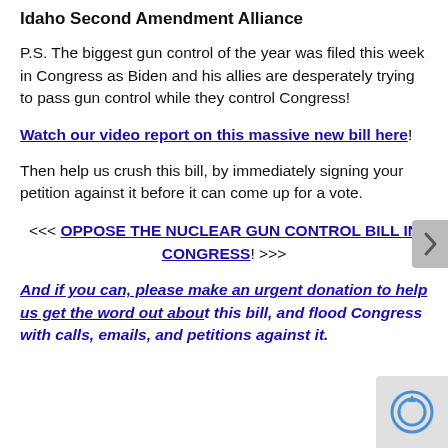Idaho Second Amendment Alliance
P.S. The biggest gun control of the year was filed this week in Congress as Biden and his allies are desperately trying to pass gun control while they control Congress!
Watch our video report on this massive new bill here!
Then help us crush this bill, by immediately signing your petition against it before it can come up for a vote.
<<< OPPOSE THE NUCLEAR GUN CONTROL BILL IN CONGRESS! >>>
And if you can, please make an urgent donation to help us get the word out about this bill, and flood Congress with calls, emails, and petitions against it.